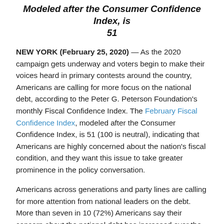Modeled after the Consumer Confidence Index, is 51
NEW YORK (February 25, 2020) — As the 2020 campaign gets underway and voters begin to make their voices heard in primary contests around the country, Americans are calling for more focus on the national debt, according to the Peter G. Peterson Foundation's monthly Fiscal Confidence Index. The February Fiscal Confidence Index, modeled after the Consumer Confidence Index, is 51 (100 is neutral), indicating that Americans are highly concerned about the nation's fiscal condition, and they want this issue to take greater prominence in the policy conversation.
Americans across generations and party lines are calling for more attention from national leaders on the debt. More than seven in 10 (72%) Americans say their concern about the national debt has increased over the past few years, and 84% want the president and